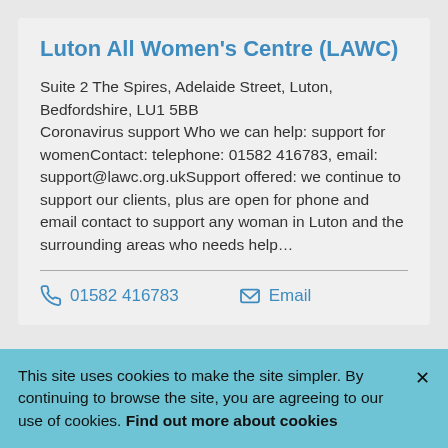Luton All Women's Centre (LAWC)
Suite 2 The Spires, Adelaide Street, Luton, Bedfordshire, LU1 5BB
Coronavirus support Who we can help: support for womenContact: telephone: 01582 416783, email: support@lawc.org.ukSupport offered: we continue to support our clients, plus are open for phone and email contact to support any woman in Luton and the surrounding areas who needs help…
01582 416783   Email
This site uses cookies to make the site simpler. By continuing to browse the site, you are agreeing to our use of cookies. Find out more about cookies